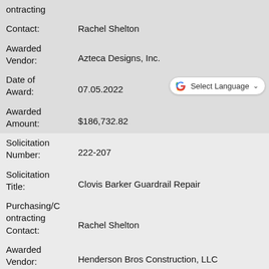ontracting
Contact: Rachel Shelton
Awarded
Vendor: Azteca Designs, Inc.
Date of Award: 07.05.2022
Awarded
Amount: $186,732.82
Solicitation
Number: 222-207
Solicitation
Title: Clovis Barker Guardrail Repair
Purchasing/Contracting
Contact: Rachel Shelton
Awarded
Vendor: Henderson Bros Construction, LLC